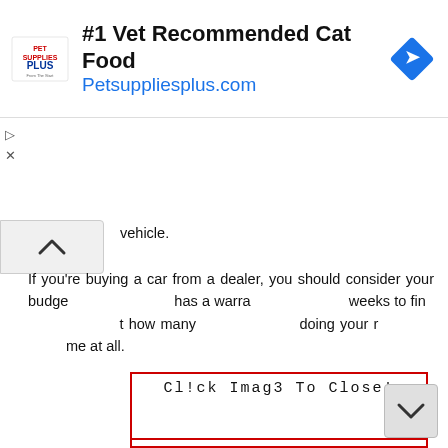[Figure (screenshot): Pet Supplies Plus advertisement banner showing logo, '#1 Vet Recommended Cat Food', 'Petsuppliesplus.com', and a blue diamond navigation icon]
vehicle.
If you're buying a car from a dealer, you should consider your budget... has a warranty... weeks to find... how many... doing your r... me at all.
[Figure (screenshot): Red-bordered popup overlay with text 'Cl!ck Imag3 To Close!']